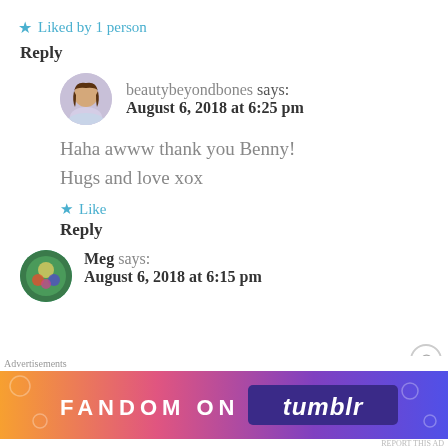★ Liked by 1 person
Reply
beautybeyondbones says: August 6, 2018 at 6:25 pm
Haha awww thank you Benny! Hugs and love xox
★ Like
Reply
Meg says: August 6, 2018 at 6:15 pm
Advertisements
[Figure (other): Fandom on Tumblr advertisement banner with colorful gradient background]